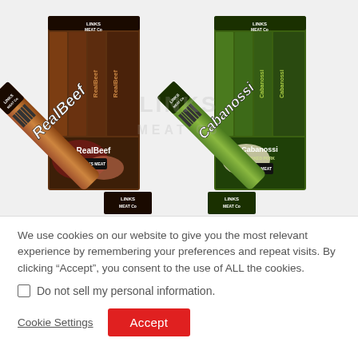[Figure (photo): Product photograph showing two meat snack products from Links Meat Co: a brown-packaged 'RealBeef' stick and a green-packaged 'Cabanossi' smoked sausage stick. Each product shows the branded packaging box and individual stick. A watermark reading 'LINKS MEAT Co' overlays the center of the image. At the bottom of the product area two additional product logos are partially visible.]
We use cookies on our website to give you the most relevant experience by remembering your preferences and repeat visits. By clicking "Accept", you consent to the use of ALL the cookies.
Do not sell my personal information.
Cookie Settings
Accept